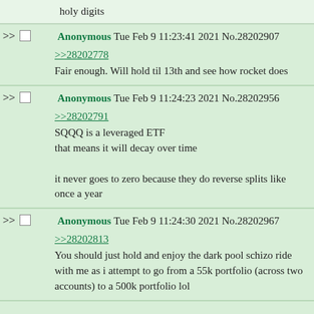holy digits
Anonymous Tue Feb 9 11:23:41 2021 No.28202907
>>28202778
Fair enough. Will hold til 13th and see how rocket does
Anonymous Tue Feb 9 11:24:23 2021 No.28202956
>>28202791
SQQQ is a leveraged ETF
that means it will decay over time

it never goes to zero because they do reverse splits like once a year
Anonymous Tue Feb 9 11:24:30 2021 No.28202967
>>28202813
You should just hold and enjoy the dark pool schizo ride with me as i attempt to go from a 55k portfolio (across two accounts) to a 500k portfolio lol